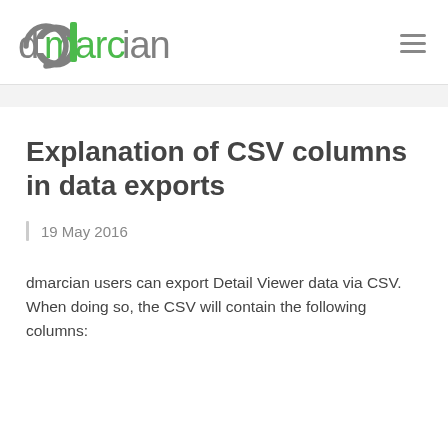dmarcian
Explanation of CSV columns in data exports
19 May 2016
dmarcian users can export Detail Viewer data via CSV.  When doing so, the CSV will contain the following columns: